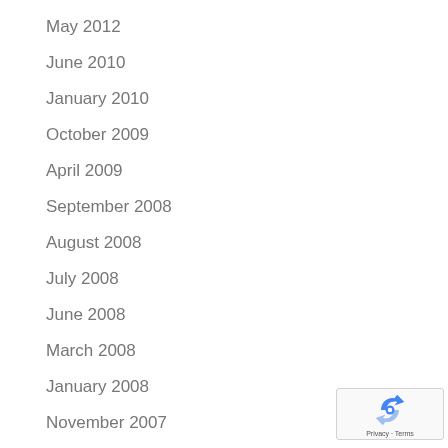May 2012
June 2010
January 2010
October 2009
April 2009
September 2008
August 2008
July 2008
June 2008
March 2008
January 2008
November 2007